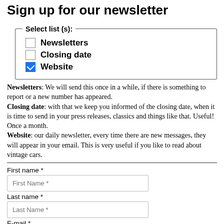Sign up for our newsletter
Select list (s): [checkbox group with Newsletters (unchecked), Closing date (unchecked), Website (checked)]
Newsletters: We will send this once in a while, if there is something to report or a new number has appeared. Closing date: with that we keep you informed of the closing date, when it is time to send in your press releases, classics and things like that. Useful! Once a month. Website: our daily newsletter, every time there are new messages, they will appear in your email. This is very useful if you like to read about vintage cars.
First name *
Last name *
E-mail *